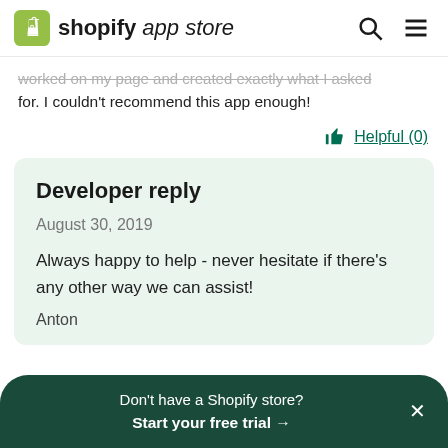shopify app store
worked on my page and created exactly what I asked for. I couldn't recommend this app enough!
Helpful (0)
Developer reply
August 30, 2019
Always happy to help - never hesitate if there's any other way we can assist!
Anton
Don't have a Shopify store? Start your free trial →